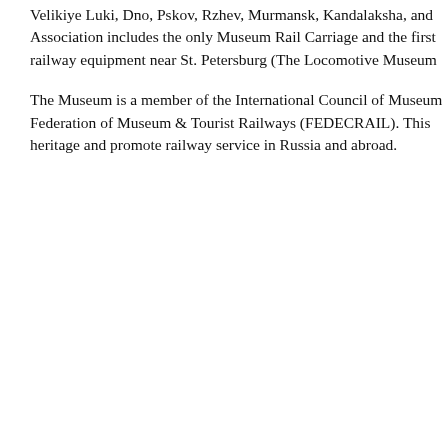Velikiye Luki, Dno, Pskov, Rzhev, Murmansk, Kandalaksha, and Association includes the only Museum Rail Carriage and the first railway equipment near St. Petersburg (The Locomotive Museum
The Museum is a member of the International Council of Museum Federation of Museum & Tourist Railways (FEDECRAIL). This heritage and promote railway service in Russia and abroad.